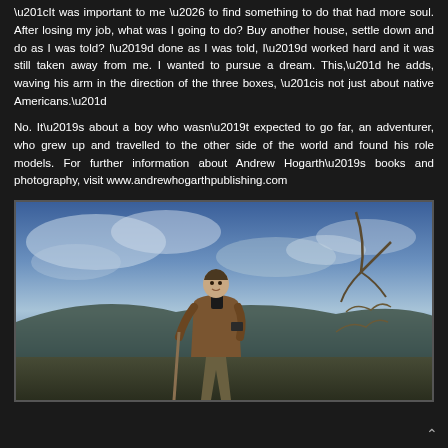“It was important to me … to find something to do that had more soul. After losing my job, what was I going to do? Buy another house, settle down and do as I was told? I’d done as I was told, I’d worked hard and it was still taken away from me. I wanted to pursue a dream. This,” he adds, waving his arm in the direction of the three boxes, “is not just about native Americans.”
No. It’s about a boy who wasn’t expected to go far, an adventurer, who grew up and travelled to the other side of the world and found his role models. For further information about Andrew Hogarth’s books and photography, visit www.andrewhogarthpublishing.com
[Figure (photo): A man standing outdoors on a hillside holding a walking staff, wearing a brown jacket, with dramatic cloudy blue sky and dry vegetation in the background.]